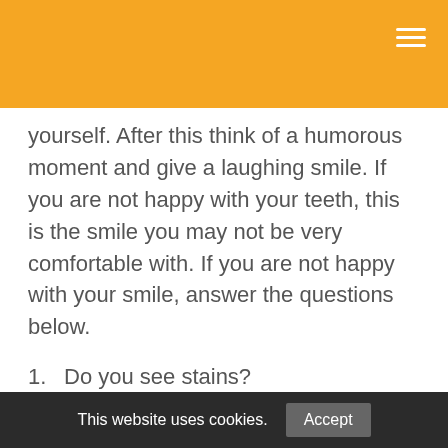yourself. After this think of a humorous moment and give a laughing smile. If you are not happy with your teeth, this is the smile you may not be very comfortable with. If you are not happy with your smile, answer the questions below.
1. Do you see stains?
2. Are your teeth dull or darkened?
3. Are there gaps and spaces and are they uneven?
This website uses cookies. Accept